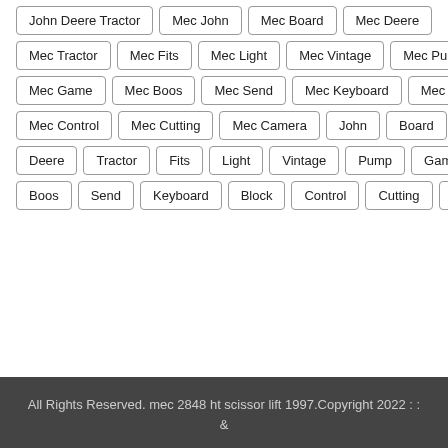John Deere Tractor | Mec John | Mec Board | Mec Deere
Mec Tractor | Mec Fits | Mec Light | Mec Vintage | Mec Pump
Mec Game | Mec Boos | Mec Send | Mec Keyboard | Mec Block
Mec Control | Mec Cutting | Mec Camera | John | Board
Deere | Tractor | Fits | Light | Vintage | Pump | Game
Boos | Send | Keyboard | Block | Control | Cutting | Camera
All Rights Reserved. mec 2848 ht scissor lift 1997.Copyright 2022 : : &